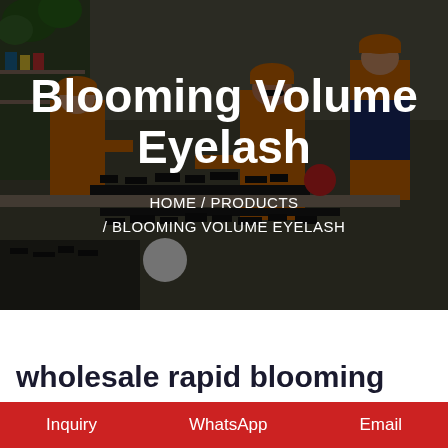[Figure (photo): Factory workers in orange uniforms and hard hats working at tables sorting/assembling eyelash products in a manufacturing facility. Dark overlay applied over the photo.]
Blooming Volume Eyelash
HOME / PRODUCTS / BLOOMING VOLUME EYELASH
wholesale rapid blooming
Inquiry   WhatsApp   Email